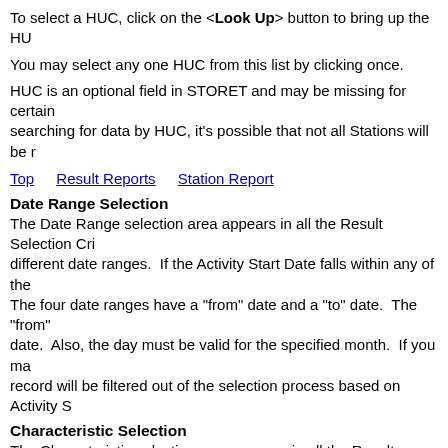To select a HUC, click on the <Look Up> button to bring up the HU
You may select any one HUC from this list by clicking once.
HUC is an optional field in STORET and may be missing for certain searching for data by HUC, it's possible that not all Stations will be r
Top   Result Reports   Station Report
Date Range Selection
The Date Range selection area appears in all the Result Selection Cri different date ranges.  If the Activity Start Date falls within any of the The four date ranges have a "from" date and a "to" date.  The "from" date.  Also, the day must be valid for the specified month.  If you ma record will be filtered out of the selection process based on Activity S
Characteristic Selection
The Characteristic selection area appears in all the Result Selection C allows you to search and select the Characteristics to use in the Resul Characteristics via Characteristic Alias Type (e.g.,  Systematic Name Name itself.
Characteristic Searches
You have been given the option to use Characteristic Aliases or Char Select the specific Characteristic Alias Type (e.g., Systematic Name